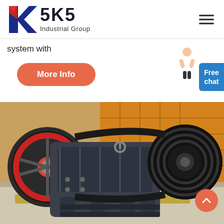SKS Industrial Group
system with
More Info
Free chat
[Figure (photo): Industrial jaw crusher machine with large black flywheels with red trim, mounted on a steel frame, photographed in a factory/warehouse setting with orange crusher liners visible in the background.]
scroll to top